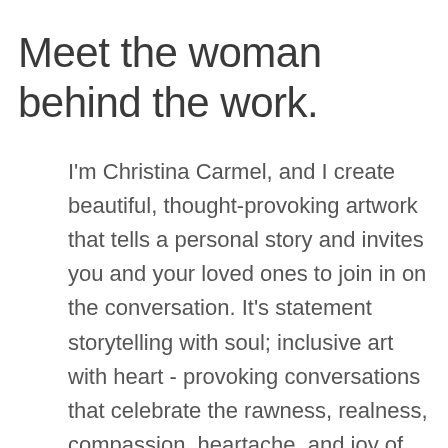Meet the woman behind the work.
I'm Christina Carmel, and I create beautiful, thought-provoking artwork that tells a personal story and invites you and your loved ones to join in on the conversation. It's statement storytelling with soul; inclusive art with heart - provoking conversations that celebrate the rawness, realness, compassion, heartache, and joy of our shared